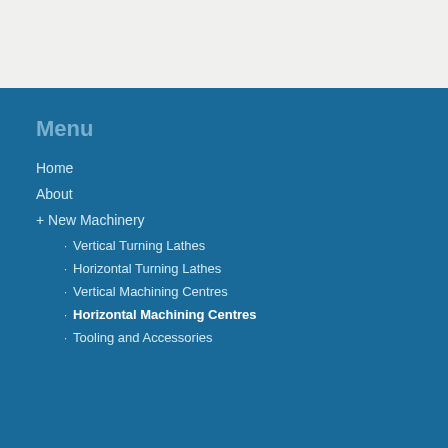Menu
Home
About
+ New Machinery
· Vertical Turning Lathes
· Horizontal Turning Lathes
· Vertical Machining Centres
· Horizontal Machining Centres
· Tooling and Accessories